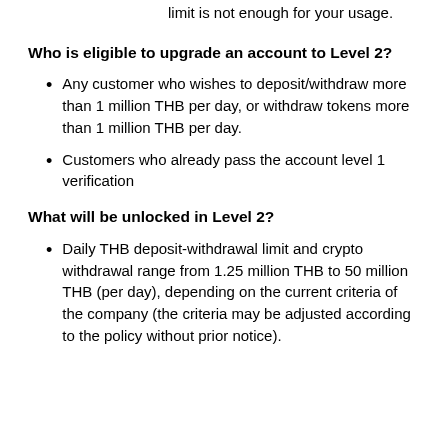limit is not enough for your usage.
Who is eligible to upgrade an account to Level 2?
Any customer who wishes to deposit/withdraw more than 1 million THB per day, or withdraw tokens more than 1 million THB per day.
Customers who already pass the account level 1 verification
What will be unlocked in Level 2?
Daily THB deposit-withdrawal limit and crypto withdrawal range from 1.25 million THB to 50 million THB (per day), depending on the current criteria of the company (the criteria may be adjusted according to the policy without prior notice).